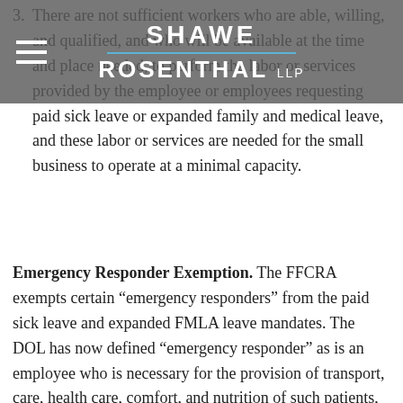3. There are not sufficient workers who are able, willing, and qualified, and who will be available at the time and place needed, to perform the labor or services provided by the employee or employees requesting paid sick leave or expanded family and medical leave, and these labor or services are needed for the small business to operate at a minimal capacity.
SHAWE ROSENTHAL LLP
Emergency Responder Exemption. The FFCRA exempts certain “emergency responders” from the paid sick leave and expanded FMLA leave mandates. The DOL has now defined “emergency responder” as is an employee who is necessary for the provision of transport, care, health care, comfort, and nutrition of such patients, or whose services are otherwise needed